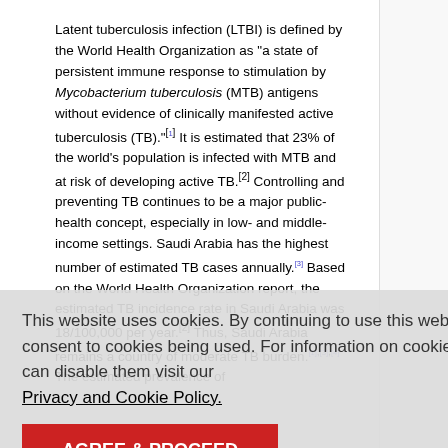Latent tuberculosis infection (LTBI) is defined by the World Health Organization as "a state of persistent immune response to stimulation by Mycobacterium tuberculosis (MTB) antigens without evidence of clinically manifested active tuberculosis (TB)."[1] It is estimated that 23% of the world's population is infected with MTB and at risk of developing active TB.[2] Controlling and preventing TB continues to be a major public-health concept, especially in low- and middle-income settings. Saudi Arabia has the highest number of estimated TB cases annually.[3] Based on the World Health Organization report, the estimated TB incidence rate in Saudi Arabia was 18/100,000 per year.[2] Thus, Saudi Arabia remains a country of moderate TB burden.[1],[3],[4] The estimated prevalence of
This website uses cookies. By continuing to use this website you are giving consent to cookies being used. For information on cookies and how you can disable them visit our Privacy and Cookie Policy.